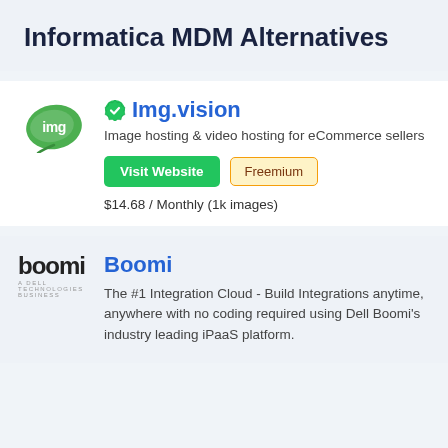Informatica MDM Alternatives
[Figure (logo): Img.vision leaf logo — green leaf shape with 'img' text inside]
Img.vision
Image hosting & video hosting for eCommerce sellers
Visit Website  Freemium
$14.68 / Monthly (1k images)
[Figure (logo): Boomi logo — black text 'boomi' with tagline]
Boomi
The #1 Integration Cloud - Build Integrations anytime, anywhere with no coding required using Dell Boomi's industry leading iPaaS platform.